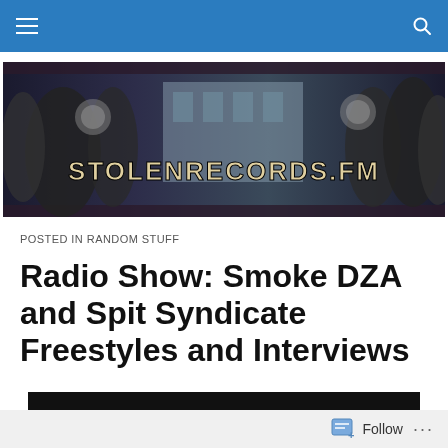Navigation bar with hamburger menu and search icon
[Figure (photo): StolenRecords.FM website banner with people in costume and text 'STOLENRECORDS.FM']
POSTED IN RANDOM STUFF
Radio Show: Smoke DZA and Spit Syndicate Freestyles and Interviews
[Figure (screenshot): Black media player or video embed area]
Follow ...